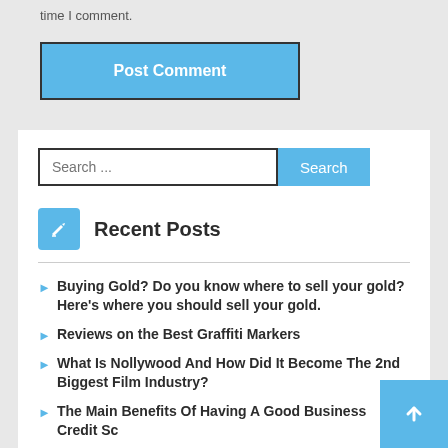time I comment.
Post Comment
Search ...
Recent Posts
Buying Gold? Do you know where to sell your gold? Here's where you should sell your gold.
Reviews on the Best Graffiti Markers
What Is Nollywood And How Did It Become The 2nd Biggest Film Industry?
The Main Benefits Of Having A Good Business Credit Sc